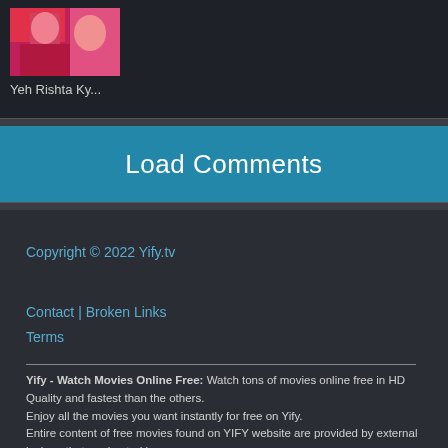[Figure (photo): Thumbnail image of a TV show with pinkish/red tones]
Yeh Rishta Ky...
Load Comments
Copyright © 2022 Yify.tv
Contact | Broken Links
Terms
Yify - Watch Movies Online Free: Watch tons of movies online free in HD Quality and fastest than the others.
Enjoy all the movies you want instantly for free on Yify.
Entire content of free movies found on YIFY website are provided by external lockers that are hosted by
third-party servers that anyone can use to watch movies online.

YIFY.tv, this great thing to watch TV Shows for free.
Think in Quality, Think in YIFY